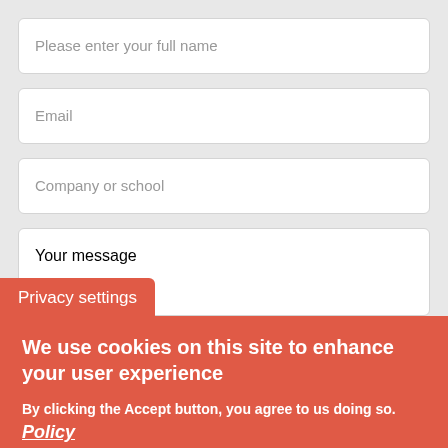Please enter your full name
Email
Company or school
Your message
Privacy settings
We use cookies on this site to enhance your user experience
By clicking the Accept button, you agree to us doing so. Policy
Accept
No, thanks